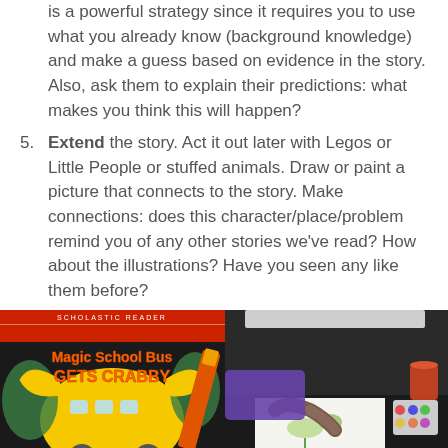is a powerful strategy since it requires you to use what you already know (background knowledge) and make a guess based on evidence in the story. Also, ask them to explain their predictions: what makes you think this will happen?
5. Extend the story. Act it out later with Legos or Little People or stuffed animals. Draw or paint a picture that connects to the story. Make connections: does this character/place/problem remind you of any other stories we've read? How about the illustrations? Have you seen any like them before?
[Figure (photo): Photo of Magic School Bus Gets Crabby book cover (Scholastic Reader) with a crayon visible]
[Figure (photo): Photo of a child drawing or painting at a desk with watercolors and pencils visible]